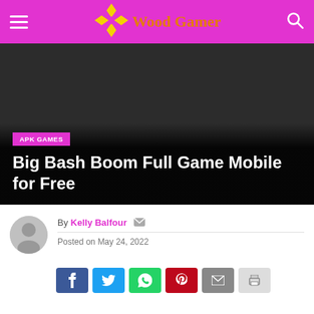Wood Gamer
[Figure (photo): Dark hero image background for Big Bash Boom Full Game Mobile for Free article]
APK GAMES
Big Bash Boom Full Game Mobile for Free
By Kelly Balfour  Posted on May 24, 2022
[Figure (infographic): Social sharing buttons row: Facebook, Twitter, WhatsApp, Pinterest, Email, Print]